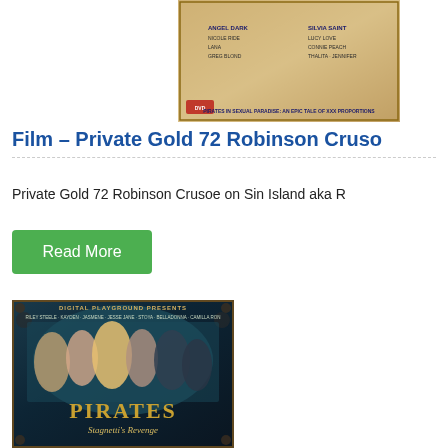[Figure (photo): DVD cover of Private Gold 72 Robinson Crusoe on Sin Island with golden/beige color scheme showing cast names and text about pirates in sexual paradise]
Film – Private Gold 72 Robinson Cruso
Private Gold 72 Robinson Crusoe on Sin Island aka R
Read More
[Figure (photo): DVD cover of Pirates: Stagnetti's Revenge by Digital Playground featuring multiple female pirates in costume against dark teal background]